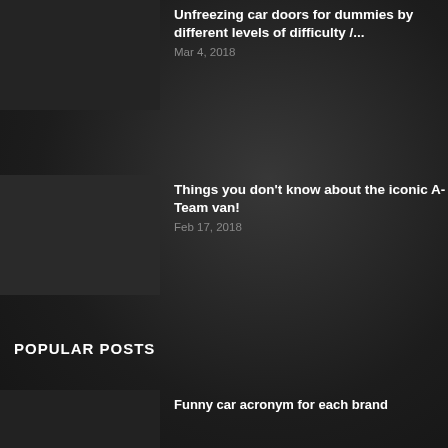Unfreezing car doors for dummies by different levels of difficulty /...
Mar 4, 2018
Things you don't know about the iconic A-Team van!
Feb 17, 2018
POPULAR POSTS
Funny car acronym for each brand
Jul 30, 2012
How to change the daytime running lights or angel eyes on...
Oct 19, 2014
Where did all the General Lee Dodge...